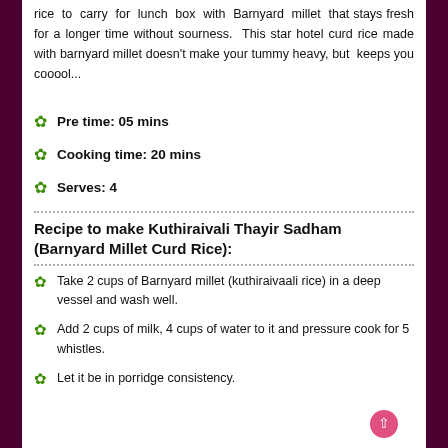rice to carry for lunch box with Barnyard millet that stays fresh for a longer time without sourness. This star hotel curd rice made with barnyard millet doesn't make your tummy heavy, but keeps you cooool...
Pre time: 05 mins
Cooking time: 20 mins
Serves: 4
Recipe to make Kuthiraivali Thayir Sadham (Barnyard Millet Curd Rice):
Take 2 cups of Barnyard millet (kuthiraivaali rice) in a deep vessel and wash well.
Add 2 cups of milk, 4 cups of water to it and pressure cook for 5 whistles.
Let it be in porridge consistency.